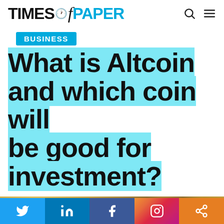TIMES of PAPER
BUSINESS
What is Altcoin and which coin will be good for investment?
[Figure (photo): Gold cryptocurrency coins pile, close-up view]
Social share bar: Twitter, LinkedIn, Facebook, Instagram, Share